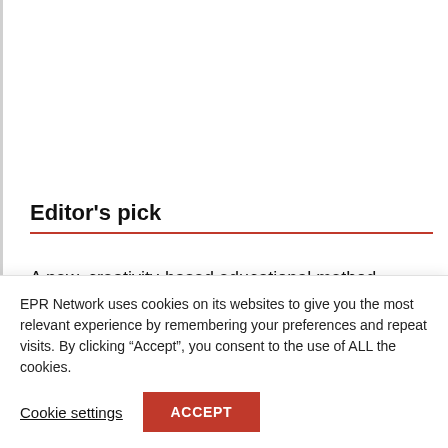Editor's pick
A new, creativity-based educational method increases the ability to solve problems with young people, in the
EPR Network uses cookies on its websites to give you the most relevant experience by remembering your preferences and repeat visits. By clicking “Accept”, you consent to the use of ALL the cookies.
Cookie settings
ACCEPT